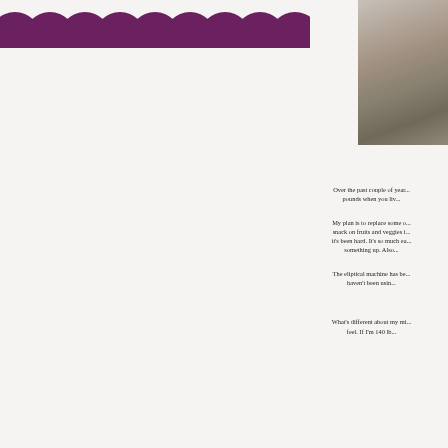[Figure (illustration): Decorative scallop/arch border in dark plum/purple color across top left portion of page]
[Figure (photo): Partial photo in upper right corner showing what appears to be a floor or ground surface with some objects]
Over the past couple of year... pounds when you liv...
My plan is to replace some o... snack on fruits and veggies i... it's been hard. It's so much ea... something up. Also...
The eliptical machine has be... haven't been usin...
What's different about my mi... feel. If I'm 140 lb...